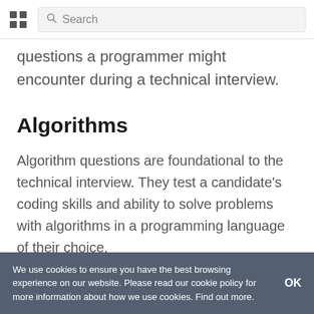Search
questions a programmer might encounter during a technical interview.
Algorithms
Algorithm questions are foundational to the technical interview. They test a candidate's coding skills and ability to solve problems with algorithms in a programming language of their choice.
We use cookies to ensure you have the best browsing experience on our website. Please read our cookie policy for more information about how we use cookies. Find out more.  OK